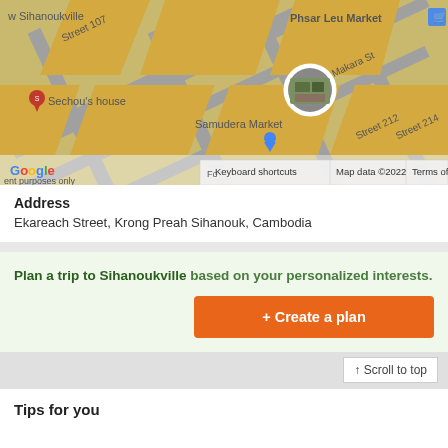[Figure (map): Google Maps screenshot showing Sihanoukville area with streets including Samudera Market, Phsar Leu Market, Sechou's house, Street 107, Makara St, Street 212, Street 214. A circular photo marker is visible near Samudera Market.]
Address
Ekareach Street, Krong Preah Sihanouk, Cambodia
Plan a trip to Sihanoukville based on your personalized interests.
+ Create a plan
↑ Scroll to top
Tips for you